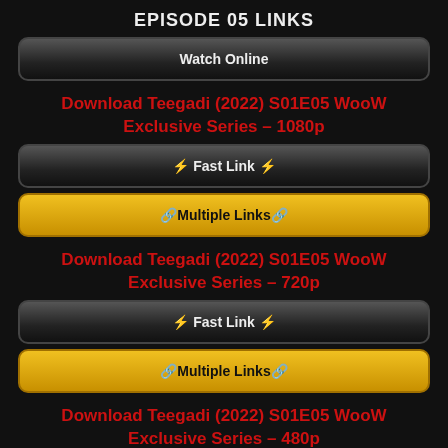EPISODE 05 LINKS
Watch Online
Download Teegadi (2022) S01E05 WooW Exclusive Series – 1080p
⚡ Fast Link ⚡
🔗Multiple Links🔗
Download Teegadi (2022) S01E05 WooW Exclusive Series – 720p
⚡ Fast Link ⚡
🔗Multiple Links🔗
Download Teegadi (2022) S01E05 WooW Exclusive Series – 480p
⚡ Fast Link ⚡
🔗Multiple Links🔗